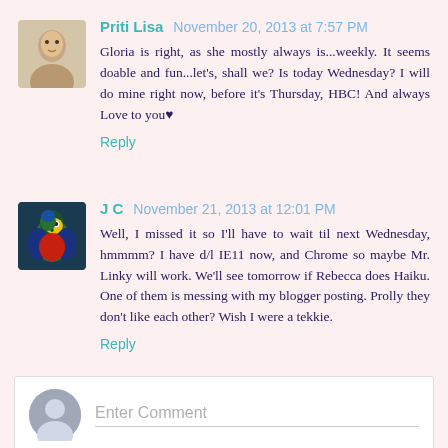[Figure (photo): Avatar photo of Priti Lisa - person's face]
Priti Lisa November 20, 2013 at 7:57 PM
Gloria is right, as she mostly always is...weekly. It seems doable and fun...let's, shall we? Is today Wednesday? I will do mine right now, before it's Thursday, HBC! And always Love to you♥
Reply
[Figure (photo): Avatar photo of J C - parrot bird]
J C November 21, 2013 at 12:01 PM
Well, I missed it so I'll have to wait til next Wednesday, hmmmm? I have d/l IE11 now, and Chrome so maybe Mr. Linky will work. We'll see tomorrow if Rebecca does Haiku. One of them is messing with my blogger posting. Prolly they don't like each other? Wish I were a tekkie.
Reply
Enter Comment